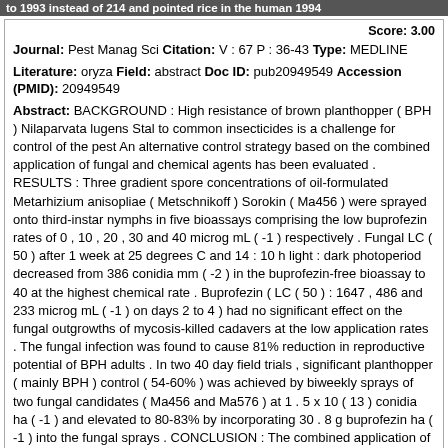to 1993 instead of 214 and pointed rice in the human 1994
Score: 3.00
Journal: Pest Manag Sci Citation: V : 67 P : 36-43 Type: MEDLINE
Literature: oryza Field: abstract Doc ID: pub20949549 Accession (PMID): 20949549
Abstract: BACKGROUND : High resistance of brown planthopper ( BPH ) Nilaparvata lugens Stal to common insecticides is a challenge for control of the pest An alternative control strategy based on the combined application of fungal and chemical agents has been evaluated . RESULTS : Three gradient spore concentrations of oil-formulated Metarhizium anisopliae ( Metschnikoff ) Sorokin ( Ma456 ) were sprayed onto third-instar nymphs in five bioassays comprising the low buprofezin rates of 0 , 10 , 20 , 30 and 40 microg mL ( -1 ) respectively . Fungal LC ( 50 ) after 1 week at 25 degrees C and 14 : 10 h light : dark photoperiod decreased from 386 conidia mm ( -2 ) in the buprofezin-free bioassay to 40 at the highest chemical rate . Buprofezin ( LC ( 50 ) : 1647 , 486 and 233 microg mL ( -1 ) on days 2 to 4 ) had no significant effect on the fungal outgrowths of mycosis-killed cadavers at the low application rates . The fungal infection was found to cause 81% reduction in reproductive potential of BPH adults . In two 40 day field trials , significant planthopper ( mainly BPH ) control ( 54-60% ) was achieved by biweekly sprays of two fungal candidates ( Ma456 and Ma576 ) at 1 . 5 x 10 ( 13 ) conidia ha ( -1 ) and elevated to 80-83% by incorporating 30 . 8 g buprofezin ha ( -1 ) into the fungal sprays . CONCLUSION : The combined application of the fungal and chemical agents is a promising alternative strategy for BPH control .
Matching Sentences:
[ Sen. 6, subscore: 2.00 ]: RESULTS : Three gradient spore